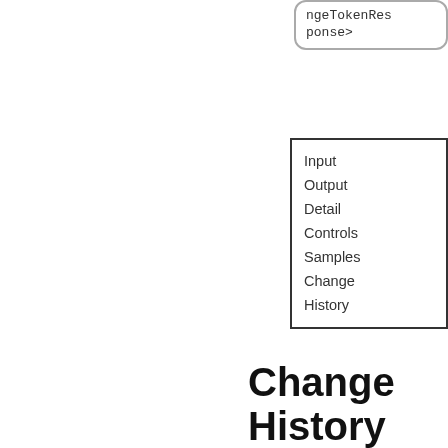[Figure (other): Rounded rectangle box containing monospace text: ngeTokenResponse>]
[Figure (other): Square bordered box listing navigation items: Input, Output, Detail, Controls, Samples, Change, History]
Change History